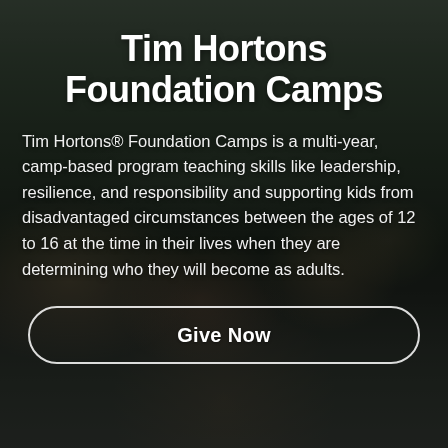[Figure (photo): Group of smiling teenagers outdoors with trees in background, dark overlay applied over the photo]
Tim Hortons Foundation Camps
Tim Hortons® Foundation Camps is a multi-year, camp-based program teaching skills like leadership, resilience, and responsibility and supporting kids from disadvantaged circumstances between the ages of 12 to 16 at the time in their lives when they are determining who they will become as adults.
Give Now